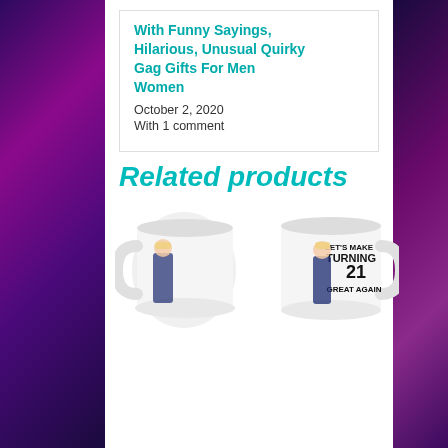With Funny Sayings, Hilarious, Unusual Quirky Gag Gifts For Men Women
October 2, 2020
With 1 comment
Related products
[Figure (photo): White coffee mug with cartoon Trump figure and text: YOU ARE A GREAT GRANDPA. REALLY TERRIFIC. VERY SPECIAL. JUST A FANTASTIC GUY. OTHER GRANDPAS? LOSERS! TOTAL DISASTERS! ASK ANYONE, THEY ALL KNOW. BELIEVE ME, THAT'S WHY YOU'RE GOING TO BE A GRANDPA AGAIN!]
[Figure (photo): White coffee mug with cartoon Trump figure and text: LET'S MAKE TURNING 21 GREAT AGAIN]